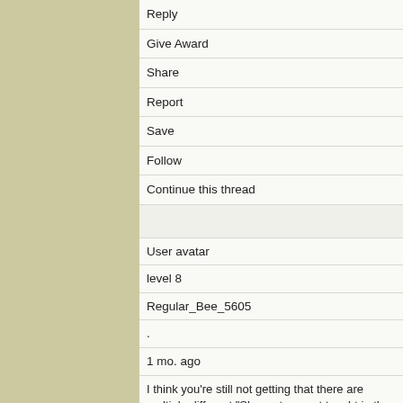Reply
Give Award
Share
Report
Save
Follow
Continue this thread
User avatar
level 8
Regular_Bee_5605
.
1 mo. ago
I think you're still not getting that there are multiple different "Sh... most are not taught in the way Dolpopa did. Now it's very much s... a synthesis of yogacara and madhyamaka basically. When I se... recognize it as my view but worded just very very slightly differ... differences matter when it's about going beyond all intellectual ... it's important to understand the view, but the degree of nitpicki... blaming you) seems to accomplish nothing. It I'd interesting ar... when I get angry and respond with aggression I'm creating bad k